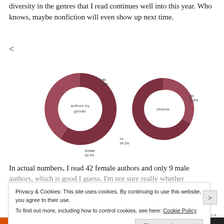diversity in the genres that I read continues well into this year. Who knows, maybe nonfiction will even show up next time.
<
[Figure (donut-chart): authors by gender]
[Figure (donut-chart): diverse]
In actual numbers, I read 42 female authors and only 9 male authors, which is good I guess. I'm not sure really whether
Privacy & Cookies: This site uses cookies. By continuing to use this website, you agree to their use.
To find out more, including how to control cookies, see here: Cookie Policy
Close and accept